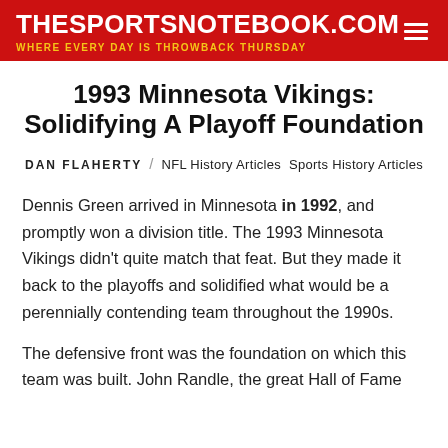THESPORTSNOTEBOOK.COM — WHERE EVERY DAY IS THROWBACK THURSDAY
1993 Minnesota Vikings: Solidifying A Playoff Foundation
DAN FLAHERTY / NFL History Articles  Sports History Articles
Dennis Green arrived in Minnesota in 1992, and promptly won a division title. The 1993 Minnesota Vikings didn't quite match that feat. But they made it back to the playoffs and solidified what would be a perennially contending team throughout the 1990s.
The defensive front was the foundation on which this team was built. John Randle, the great Hall of Fame